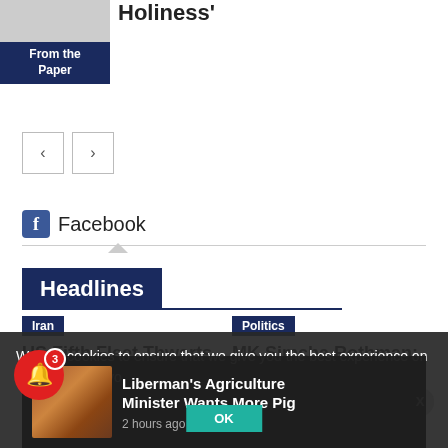[Figure (photo): Thumbnail image placeholder, grayscale]
Holiness'
From the Paper
[Figure (other): Navigation previous and next arrow buttons]
Facebook
Headlines
Iran
US Fifth Fleet Thwarts Iranian
Politics
MK Simcha Rothman: Like
We use cookies to ensure that we give you the best experience on our website. If yo
Liberman's Agriculture Minister Wants More Pig
2 hours ago